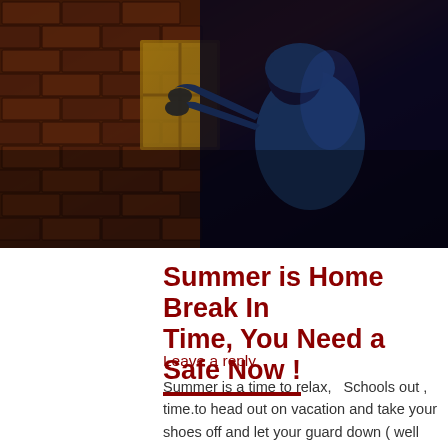[Figure (photo): A burglar dressed in dark hoodie breaking into a window of a brick house at night]
Summer is Home Break In Time, You Need a Safe Now !
Leave a reply
Summer is a time to relax,   Schools out , time.to head out on vacation and take your shoes off and let your guard down ( well not really ) .  As you relax for the summer months it pays to know that July and August are the months were break ins increase.  Make sure you take steps to protect your home and valuables when you're away